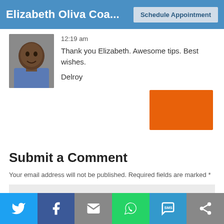Elizabeth Oliva Coa...   Schedule Appointment
12:19 am
Thank you Elizabeth. Awesome tips. Best wishes.

Delroy
[Figure (photo): Profile photo of a man (Delroy)]
[Figure (other): Orange button/image element]
Submit a Comment
Your email address will not be published. Required fields are marked *
Comment *
Twitter Facebook Email WhatsApp SMS Other social share buttons